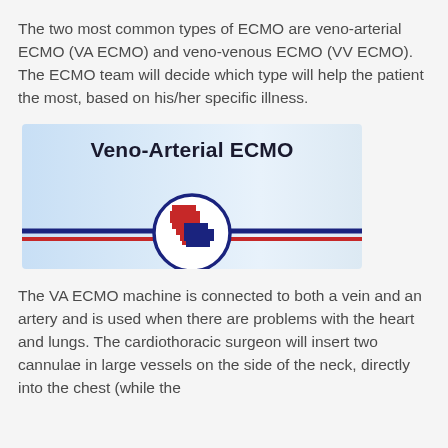The two most common types of ECMO are veno-arterial ECMO (VA ECMO) and veno-venous ECMO (VV ECMO). The ECMO team will decide which type will help the patient the most, based on his/her specific illness.
[Figure (illustration): Veno-Arterial ECMO diagram showing a blue vein line and a red artery line intersecting through a circular icon containing a red heart shape and a dark blue pixelated lung shape, with the title 'Veno-Arterial ECMO' at the top, on a light blue gradient background.]
The VA ECMO machine is connected to both a vein and an artery and is used when there are problems with the heart and lungs. The cardiothoracic surgeon will insert two cannulae in large vessels on the side of the neck, directly into the chest (while the